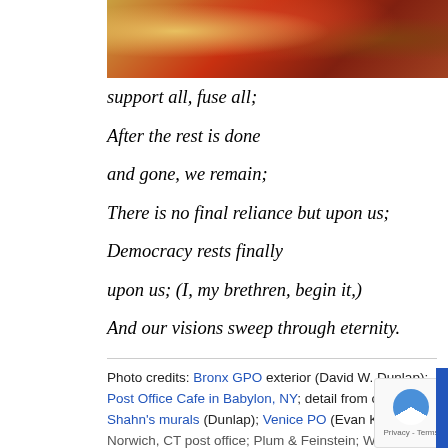[Figure (photo): Partial view of a colorful mural or painting with warm reds, oranges, and golds, cropped at the top of the page]
support all, fuse all;
After the rest is done
and gone, we remain;
There is no final reliance but upon us;
Democracy rests finally
upon us; (I, my brethren, begin it,)
And our visions sweep through eternity.
Photo credits: Bronx GPO exterior (David W. Dunlap); Post Office Cafe in Babylon, NY; detail from one of Shahn's murals (Dunlap); Venice PO (Evan Kalish); Norwich, CT post office; Plum & Feinstein; Whitman